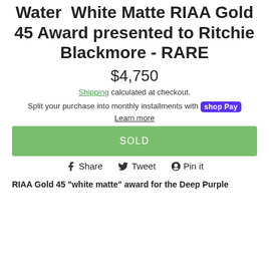Water  White Matte RIAA Gold 45 Award presented to Ritchie Blackmore - RARE
$4,750
Shipping calculated at checkout.
Split your purchase into monthly installments with shop Pay
Learn more
SOLD
Share  Tweet  Pin it
RIAA Gold 45 "white matte" award for the Deep Purple